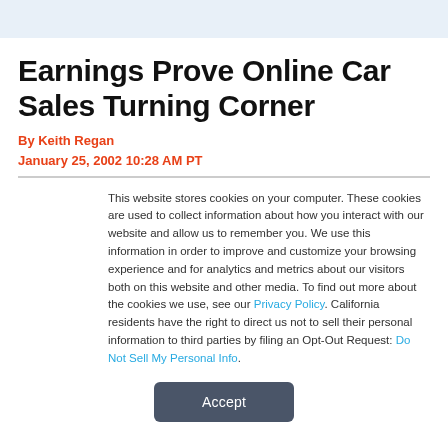Earnings Prove Online Car Sales Turning Corner
By Keith Regan
January 25, 2002 10:28 AM PT
This website stores cookies on your computer. These cookies are used to collect information about how you interact with our website and allow us to remember you. We use this information in order to improve and customize your browsing experience and for analytics and metrics about our visitors both on this website and other media. To find out more about the cookies we use, see our Privacy Policy. California residents have the right to direct us not to sell their personal information to third parties by filing an Opt-Out Request: Do Not Sell My Personal Info.
Accept